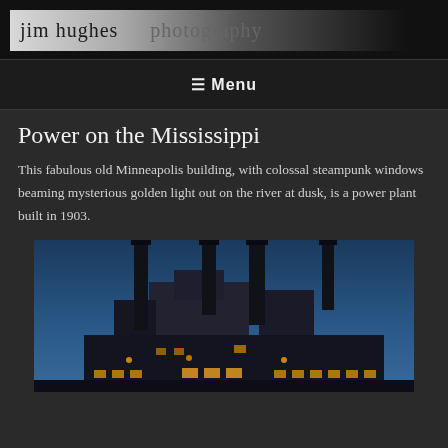jim hughes   photography
≡ Menu
Power on the Mississippi
This fabulous old Minneapolis building, with colossal steampunk windows beaming mysterious golden light out on the river at dusk, is a power plant built in 1903.
[Figure (photo): Dusk photograph of an old industrial power plant building along the Mississippi River, showing tall smokestacks silhouetted against a deep blue sky, with golden lights glowing from the building windows.]